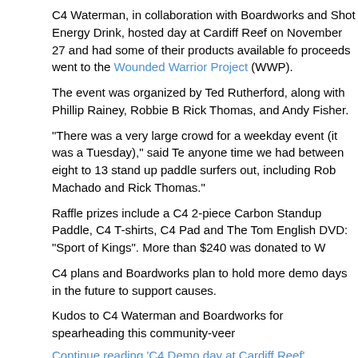C4 Waterman, in collaboration with Boardworks and Shot Energy Drink, hosted day at Cardiff Reef on November 27 and had some of their products available for proceeds went to the Wounded Warrior Project (WWP).
The event was organized by Ted Rutherford, along with Phillip Rainey, Robbie B Rick Thomas, and Andy Fisher.
"There was a very large crowd for a weekday event (it was a Tuesday)," said Te anyone time we had between eight to 13 stand up paddle surfers out, including Rob Machado and Rick Thomas."
Raffle prizes include a C4 2-piece Carbon Standup Paddle, C4 T-shirts, C4 Pad and The Tom English DVD: “Sport of Kings”. More than $240 was donated to W
C4 plans and Boardworks plan to hold more demo days in the future to support causes.
Kudos to C4 Waterman and Boardworks for spearheading this community-veer
Continue reading ‘C4 Demo day at Cardiff Reef’
News, Uncategorized  Ad
2008 Hennessey’s Races